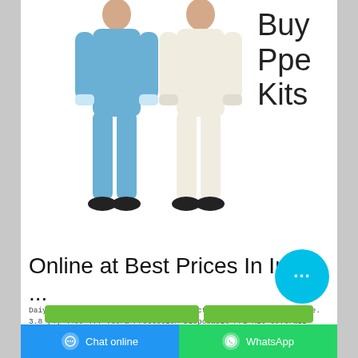[Figure (photo): Two people wearing PPE coverall suits — one in blue and one in white/cream — standing against a white background, wearing black shoe covers]
Buy Ppe Kits
Online at Best Prices In India ...
Daiyamondo COLLECTIONS Personal Protective Equipment's ... blue. 3.8 (4) ₹400 ... Veera Protection Disposable PPE Kit Coverall Suit with ... Green ₹1,149
[Figure (screenshot): Circular chat bubble button in cyan/teal color with three dots (ellipsis) indicating a chat widget]
Chat online | WhatsApp